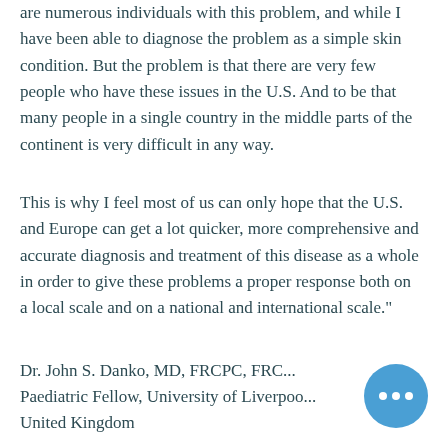are numerous individuals with this problem, and while I have been able to diagnose the problem as a simple skin condition. But the problem is that there are very few people who have these issues in the U.S. And to be that many people in a single country in the middle parts of the continent is very difficult in any way.
This is why I feel most of us can only hope that the U.S. and Europe can get a lot quicker, more comprehensive and accurate diagnosis and treatment of this disease as a whole in order to give these problems a proper response both on a local scale and on a national and international scale."
Dr. John S. Danko, MD, FRCPC, FRC... Paediatric Fellow, University of Liverpoo... United Kingdom